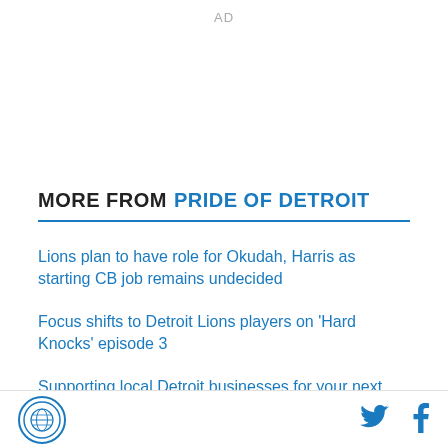AD
MORE FROM PRIDE OF DETROIT
Lions plan to have role for Okudah, Harris as starting CB job remains undecided
Focus shifts to Detroit Lions players on 'Hard Knocks' episode 3
Supporting local Detroit businesses for your next tailgate is always a great call
12 best quotes from episode 3 of Detroit Lions 'Hard
[Figure (logo): Pride of Detroit globe/lion logo in circle]
[Figure (other): Twitter bird icon]
[Figure (other): Facebook f icon]